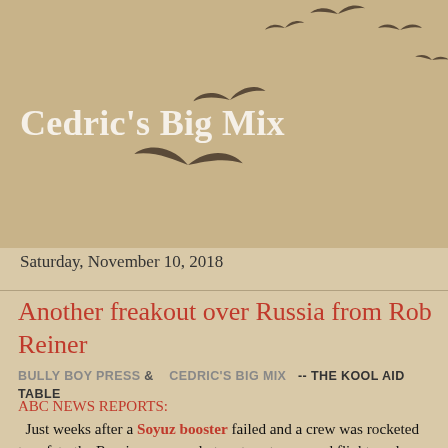Cedric's Big Mix
Saturday, November 10, 2018
Another freakout over Russia from Rob Reiner
BULLY BOY PRESS & CEDRIC'S BIG MIX -- THE KOOL AID TABLE
ABC NEWS REPORTS:
Just weeks after a Soyuz booster failed and a crew was rocketed to safety the Russians are ready to return to manned flight, and Army Lt. Col. Anne McClain will be the first to sit atop that rocket since the accident. Officials that investigated the failed October 11th launch from Baikonur space center in Kazakhstan, said they